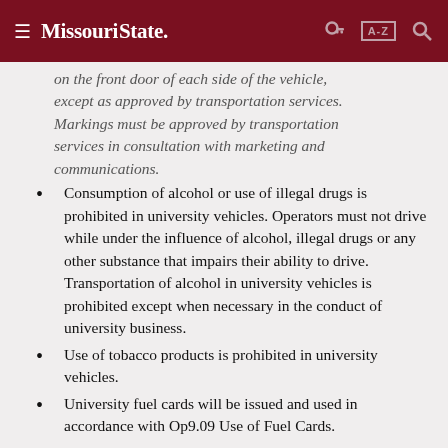Missouri State [navigation header with menu, A-Z, and search icons]
on the front door of each side of the vehicle, except as approved by transportation services. Markings must be approved by transportation services in consultation with marketing and communications.
Consumption of alcohol or use of illegal drugs is prohibited in university vehicles. Operators must not drive while under the influence of alcohol, illegal drugs or any other substance that impairs their ability to drive. Transportation of alcohol in university vehicles is prohibited except when necessary in the conduct of university business.
Use of tobacco products is prohibited in university vehicles.
University fuel cards will be issued and used in accordance with Op9.09 Use of Fuel Cards.